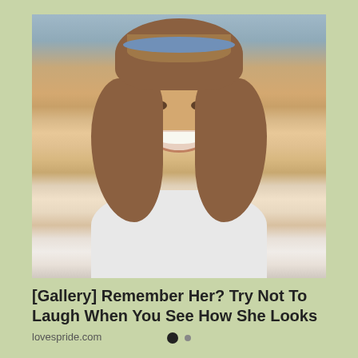[Figure (photo): Smiling young woman with feathered brown hair, blue headband, wearing a white sweater, photographed outdoors with a blurred background. Appears to be from the 1980s.]
[Gallery] Remember Her? Try Not To Laugh When You See How She Looks
lovespride.com